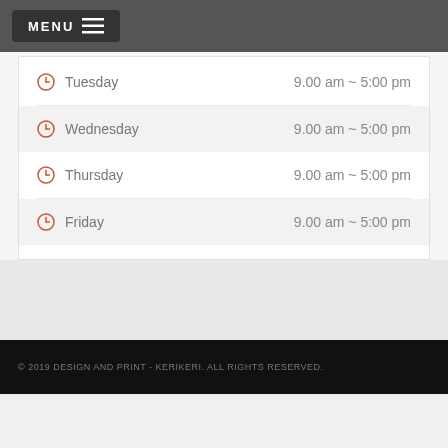MENU
Tuesday  9.00 am ~ 5:00 pm
Wednesday  9.00 am ~ 5:00 pm
Thursday  9.00 am ~ 5:00 pm
Friday  9.00 am ~ 5:00 pm
© 2019 DESIGN AND PRINT - KERIKERI. ALL RIGHTS RESERVED.